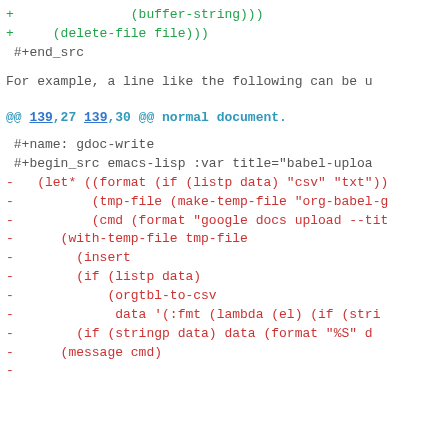+               (buffer-string)))
+     (delete-file file)))
 #+end_src
For example, a line like the following can be u
@@ 139,27 139,30 @@ normal document.
#+name: gdoc-write
 #+begin_src emacs-lisp :var title="babel-uploa
-  (let* ((format (if (listp data) "csv" "txt"))
-         (tmp-file (make-temp-file "org-babel-g
-         (cmd (format "google docs upload --tit
-     (with-temp-file tmp-file
-       (insert
-       (if (listp data)
-           (orgtbl-to-csv
-            data '(:fmt (lambda (el) (if (stri
-       (if (stringp data) data (format "%S" d
-     (message cmd)
-